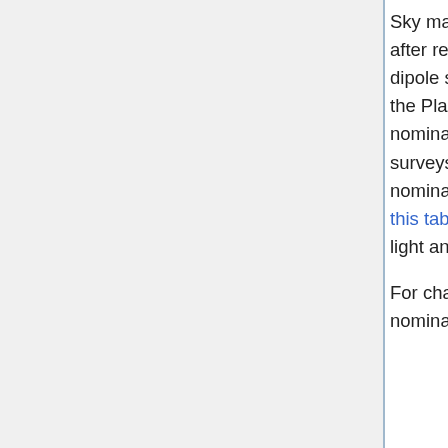Sky maps give the best estimate of the intensity of the signal from the sky after removal, as far as possible, of known systematic effects and of the dipole signals induced by the motion of the solar system in the CMB and of the Planck satellite in the solar system. Sky maps are provided for the nominal Planck mission and also, separately, for the first two single surveys, the third one being covered only for a small part during the nominal mission.The details of the start and end times of each are given in this table. As a secondary product, maps with estimates of the Zodiacal light and Far-Side-Lobes contribution removed are also provided.
For characterization purposes, are also provided maps covering the nominal survey but each one using only half of